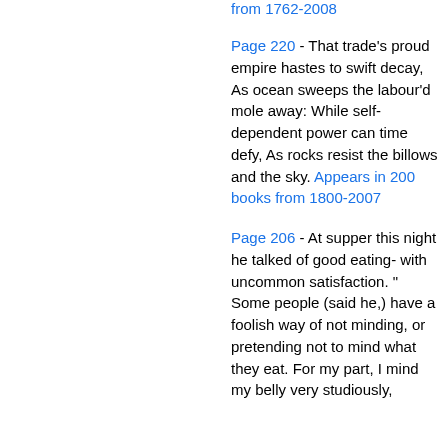from 1762-2008
Page 220 - That trade's proud empire hastes to swift decay, As ocean sweeps the labour'd mole away: While self-dependent power can time defy, As rocks resist the billows and the sky. Appears in 200 books from 1800-2007
Page 206 - At supper this night he talked of good eating- with uncommon satisfaction. " Some people (said he,) have a foolish way of not minding, or pretending not to mind what they eat. For my part, I mind my belly very studiously,